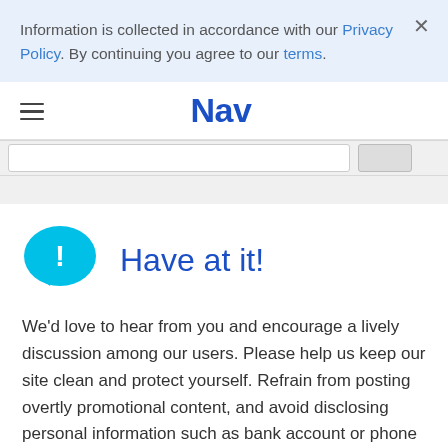Information is collected in accordance with our Privacy Policy. By continuing you agree to our terms.
[Figure (logo): Nav website logo and hamburger menu navigation bar]
Have at it!
We'd love to hear from you and encourage a lively discussion among our users. Please help us keep our site clean and protect yourself. Refrain from posting overtly promotional content, and avoid disclosing personal information such as bank account or phone numbers.